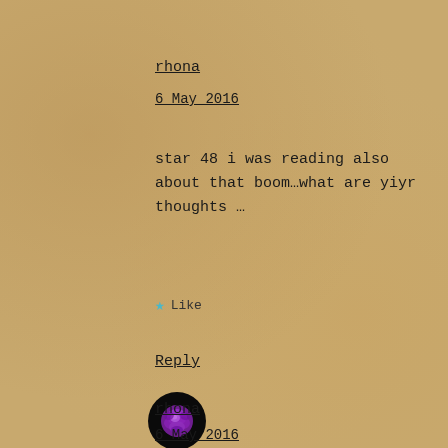rhona
6 May 2016
star 48 i was reading also about that boom…what are yiyr thoughts …
★ Like
Reply
[Figure (photo): Circular avatar image showing a purple rose or flower on black background]
rhona
6 May 2016